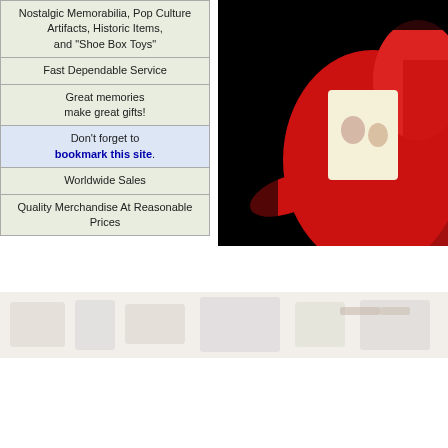| Nostalgic Memorabilia, Pop Culture Artifacts, Historic Items, and "Shoe Box Toys" |
| Fast Dependable Service |
| Great memories make great gifts! |
| Don't forget to bookmark this site. |
| Worldwide Sales |
| Quality Merchandise At Reasonable Prices |
[Figure (photo): Close-up photo of a red plastic toy against a black background, with a white/cream colored illustrated card or booklet visible]
[Figure (photo): A wide banner/strip photo showing a collection of vintage toys, memorabilia and collectibles spread out, washed out/faded appearance]